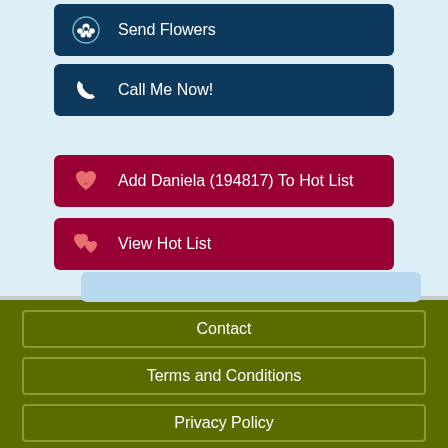Send Flowers
Call Me Now!
Add Daniela (194817) To Hot List
View Hot List
Contact
Terms and Conditions
Privacy Policy